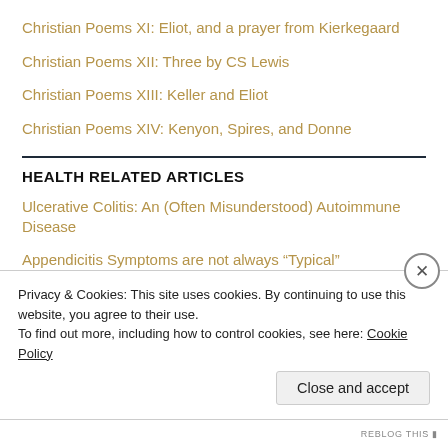Christian Poems XI: Eliot, and a prayer from Kierkegaard
Christian Poems XII: Three by CS Lewis
Christian Poems XIII: Keller and Eliot
Christian Poems XIV: Kenyon, Spires, and Donne
HEALTH RELATED ARTICLES
Ulcerative Colitis: An (Often Misunderstood) Autoimmune Disease
Appendicitis Symptoms are not always “Typical”
Varied and Odd Happenings; brains, kidneys, and the kitchen sink
Privacy & Cookies: This site uses cookies. By continuing to use this website, you agree to their use.
To find out more, including how to control cookies, see here: Cookie Policy